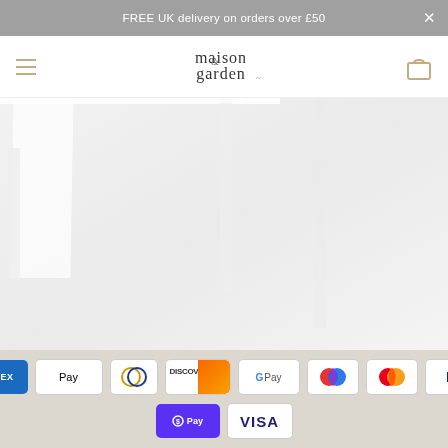FREE UK delivery on orders over £50
[Figure (logo): maison&garden logo with hamburger menu icon and shopping bag icon on a white navigation bar]
[Figure (photo): White outdoor/garden table furniture against a light grey background, showing table top and legs]
[Figure (infographic): Payment method icons row 1: American Express, Apple Pay, Diners Club, Discover, Google Pay, Maestro, Mastercard, PayPal. Row 2: Shop Pay, Visa]